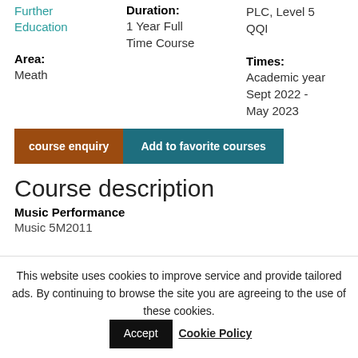Further Education
Duration:
1 Year Full Time Course
PLC, Level 5 QQI
Area:
Meath
Times:
Academic year Sept 2022 - May 2023
course enquiry
Add to favorite courses
Course description
Music Performance
Music 5M2011
This website uses cookies to improve service and provide tailored ads. By continuing to browse the site you are agreeing to the use of these cookies.